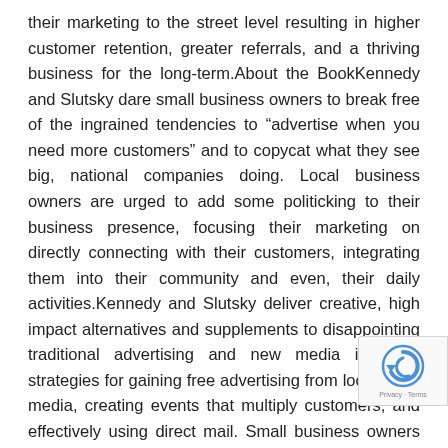their marketing to the street level resulting in higher customer retention, greater referrals, and a thriving business for the long-term.About the BookKennedy and Slutsky dare small business owners to break free of the ingrained tendencies to &#147;advertise when you need more customers&#8221; and to copycat what they see big, national companies doing. Local business owners are urged to add some politicking to their business presence, focusing their marketing on directly connecting with their customers, integrating them into their community and even, their daily activities.Kennedy and Slutsky deliver creative, high impact alternatives and supplements to disappointing traditional advertising and new media including strategies for gaining free advertising from local news media, creating events that multiply customers, and effectively using direct mail. Small business owners also uncover surefire tactics that capitalize on their neighborhoods, the four walls of their business, and the internet, reaching their local customers, creating a sense of a personal relationship. Throughout their
[Figure (other): Google reCAPTCHA badge with Privacy - Terms links]